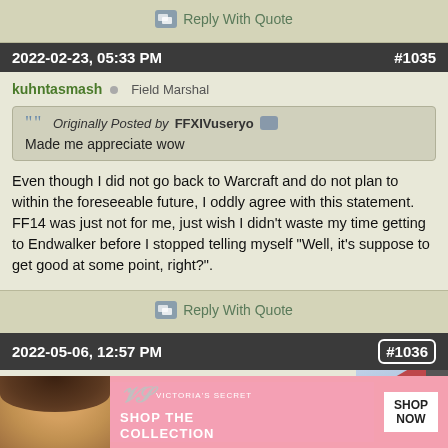Reply With Quote
2022-02-23, 05:33 PM   #1035
kuhntasmash  Field Marshal
Originally Posted by FFXIVuseryo
Made me appreciate wow
Even though I did not go back to Warcraft and do not plan to within the foreseeable future, I oddly agree with this statement. FF14 was just not for me, just wish I didn't waste my time getting to Endwalker before I stopped telling myself "Well, it's suppose to get good at some point, right?".
Reply With Quote
2022-05-06, 12:57 PM   #1036
[Figure (photo): Advertisement banner for Victoria's Secret showing a model and 'Shop The Collection / Shop Now' call to action]
NineSpice  Banned